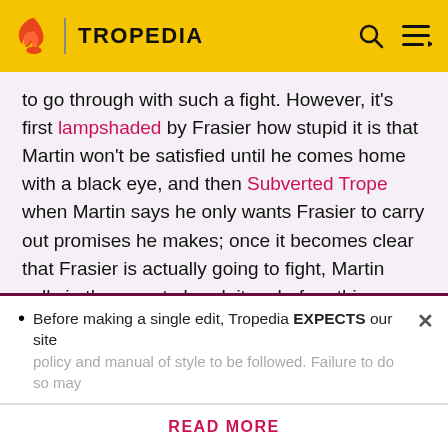TROPEDIA
to go through with such a fight. However, it's first lampshaded by Frasier how stupid it is that Martin won't be satisfied until he comes home with a black eye, and then Subverted Trope when Martin says he only wants Frasier to carry out promises he makes; once it becomes clear that Frasier is actually going to fight, Martin calls in the cops to break it up before things really get physical.
Broken Pedestal: Played with; after discovering that his mentor and Roz are having a relationship, Frasier
Before making a single edit, Tropedia EXPECTS our site policy and manual of style to be followed. Failure to do so may
READ MORE